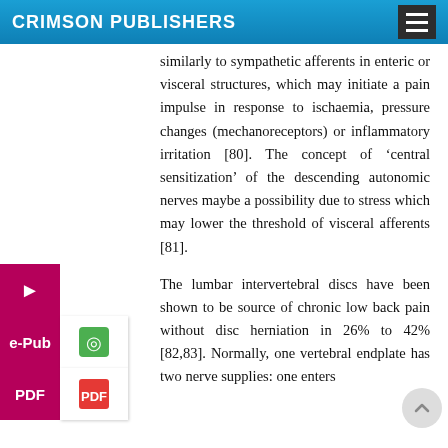CRIMSON PUBLISHERS
similarly to sympathetic afferents in enteric or visceral structures, which may initiate a pain impulse in response to ischaemia, pressure changes (mechanoreceptors) or inflammatory irritation [80]. The concept of ‘central sensitization’ of the descending autonomic nerves maybe a possibility due to stress which may lower the threshold of visceral afferents [81].
The lumbar intervertebral discs have been shown to be source of chronic low back pain without disc herniation in 26% to 42% [82,83]. Normally, one vertebral endplate has two nerve supplies: one enters